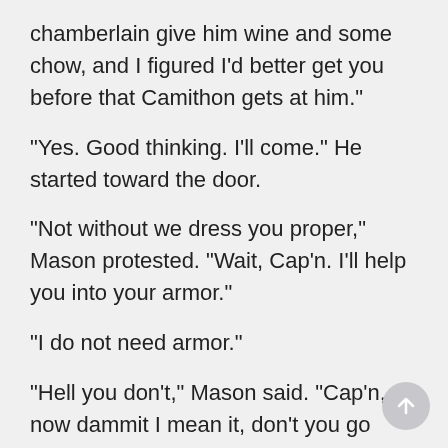chamberlain give him wine and some chow, and I figured I'd better get you before that Camithon gets at him."
"Yes. Good thinking. I'll come." He started toward the door.
"Not without we dress you proper," Mason protested. "Wait, Cap'n. I'll help you into your armor."
"I do not need armor."
"Hell you don't," Mason said. "Cap'n, now dammit I mean it, don't you go down there without your mail shirt. Here, take the pistol off. That's it. Now duck-" Despite Rick's protests, Mason eased him into a shirt woven of tiny metal rings.